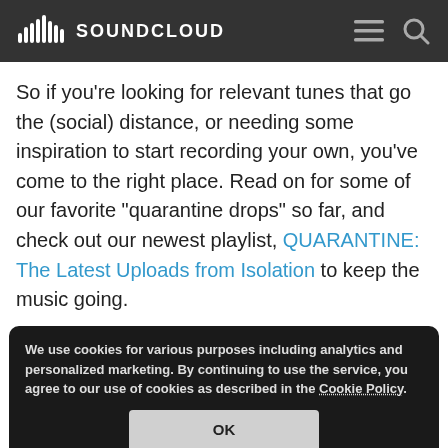SOUNDCLOUD
So if you’re looking for relevant tunes that go the (social) distance, or needing some inspiration to start recording your own, you’ve come to the right place. Read on for some of our favorite “quarantine drops” so far, and check out our newest playlist, QUARANTINE: The Latest Uploads from Isolation to keep the music going.
We use cookies for various purposes including analytics and personalized marketing. By continuing to use the service, you agree to our use of cookies as described in the Cookie Policy.
OK
For anyone still lamenting their